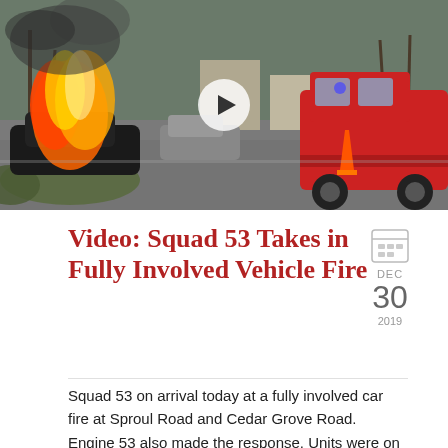[Figure (photo): A car fully engulfed in flames on a road intersection with a red fire truck approaching from the right and an orange traffic cone visible; overcast winter day with bare trees in background. A video play button overlay is centered on the image.]
Video: Squad 53 Takes in Fully Involved Vehicle Fire
DEC 30 2019
Squad 53 on arrival today at a fully involved car fire at Sproul Road and Cedar Grove Road. Engine 53 also made the response. Units were on scene for about 45 minutes.
Read More